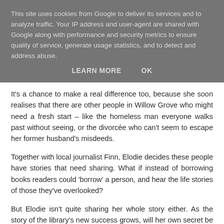This site uses cookies from Google to deliver its services and to analyze traffic. Your IP address and user-agent are shared with Google along with performance and security metrics to ensure quality of service, generate usage statistics, and to detect and address abuse.
LEARN MORE    OK
It's a chance to make a real difference too, because she soon realises that there are other people in Willow Grove who might need a fresh start – like the homeless man everyone walks past without seeing, or the divorcée who can't seem to escape her former husband's misdeeds.
Together with local journalist Finn, Elodie decides these people have stories that need sharing. What if instead of borrowing books readers could 'borrow' a person, and hear the life stories of those they've overlooked?
But Elodie isn't quite sharing her whole story either. As the story of the library's new success grows, will her own secret be revealed?